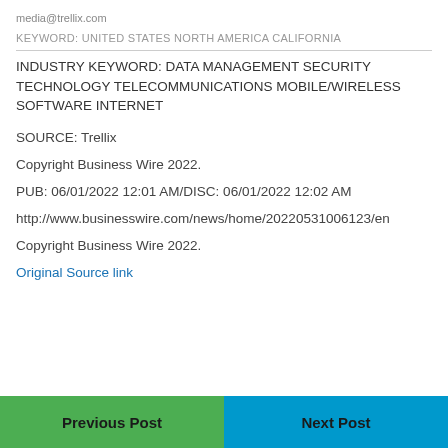media@trellix.com
KEYWORD: UNITED STATES NORTH AMERICA CALIFORNIA
INDUSTRY KEYWORD: DATA MANAGEMENT SECURITY TECHNOLOGY TELECOMMUNICATIONS MOBILE/WIRELESS SOFTWARE INTERNET
SOURCE: Trellix
Copyright Business Wire 2022.
PUB: 06/01/2022 12:01 AM/DISC: 06/01/2022 12:02 AM
http://www.businesswire.com/news/home/20220531006123/en
Copyright Business Wire 2022.
Original Source link
Previous Post
Next Post